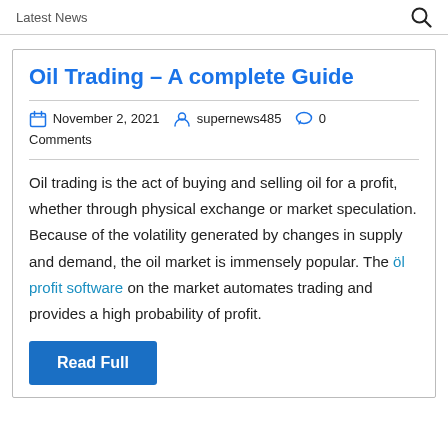Latest News
Oil Trading – A complete Guide
November 2, 2021  supernews485  0 Comments
Oil trading is the act of buying and selling oil for a profit, whether through physical exchange or market speculation. Because of the volatility generated by changes in supply and demand, the oil market is immensely popular. The öl profit software on the market automates trading and provides a high probability of profit.
Read Full